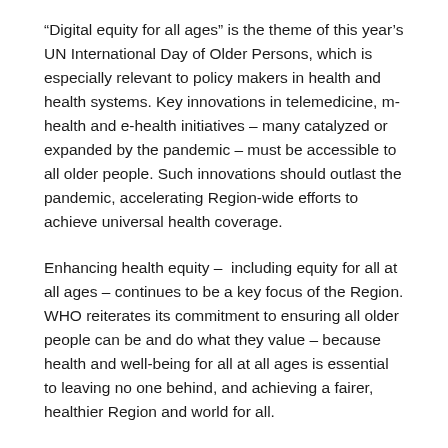“Digital equity for all ages” is the theme of this year’s UN International Day of Older Persons, which is especially relevant to policy makers in health and health systems. Key innovations in telemedicine, m-health and e-health initiatives – many catalyzed or expanded by the pandemic – must be accessible to all older people. Such innovations should outlast the pandemic, accelerating Region-wide efforts to achieve universal health coverage.
Enhancing health equity –  including equity for all at all ages – continues to be a key focus of the Region. WHO reiterates its commitment to ensuring all older people can be and do what they value – because health and well-being for all at all ages is essential to leaving no one behind, and achieving a fairer, healthier Region and world for all.